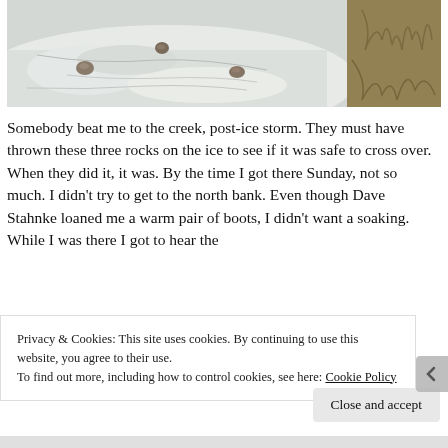[Figure (photo): Close-up photo of icy creek surface with three rocks visible on the ice and dried grass/hay visible at the right edge]
Somebody beat me to the creek, post-ice storm. They must have thrown these three rocks on the ice to see if it was safe to cross over. When they did it, it was. By the time I got there Sunday, not so much. I didn't try to get to the north bank. Even though Dave Stahnke loaned me a warm pair of boots, I didn't want a soaking. While I was there I got to hear the
Privacy & Cookies: This site uses cookies. By continuing to use this website, you agree to their use.
To find out more, including how to control cookies, see here: Cookie Policy
Close and accept